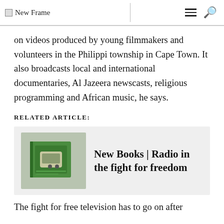New Frame
on videos produced by young filmmakers and volunteers in the Philippi township in Cape Town. It also broadcasts local and international documentaries, Al Jazeera newscasts, religious programming and African music, he says.
RELATED ARTICLE:
[Figure (photo): Book with green cover on a surface, related article thumbnail]
New Books | Radio in the fight for freedom
The fight for free television has to go on after